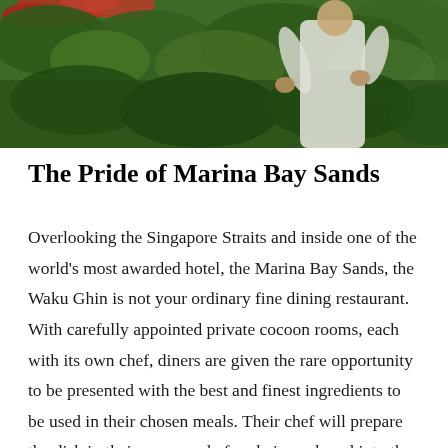[Figure (photo): A person in a white shirt holding something, standing among lush green foliage and red flowers, photographed outdoors.]
The Pride of Marina Bay Sands
Overlooking the Singapore Straits and inside one of the world's most awarded hotel, the Marina Bay Sands, the Waku Ghin is not your ordinary fine dining restaurant. With carefully appointed private cocoon rooms, each with its own chef, diners are given the rare opportunity to be presented with the best and finest ingredients to be used in their chosen meals. Their chef will prepare the dish in their presence before being ushered into the main dining area for desserts. All these while immersing oneself in the magnificent Singapore skyline...